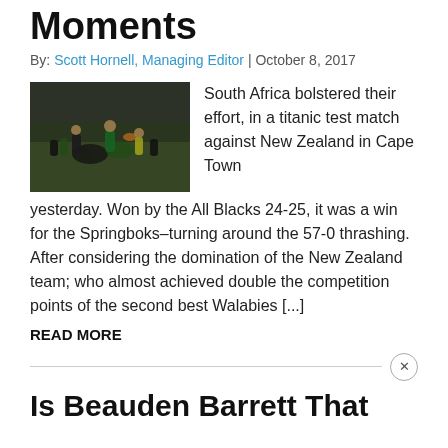Moments
By: Scott Hornell, Managing Editor | October 8, 2017
[Figure (photo): Rugby match photo showing players from South Africa and New Zealand in action on the field]
South Africa bolstered their effort, in a titanic test match against New Zealand in Cape Town yesterday. Won by the All Blacks 24-25, it was a win for the Springboks–turning around the 57-0 thrashing. After considering the domination of the New Zealand team; who almost achieved double the competition points of the second best Walabies [...]
READ MORE
Is Beauden Barrett That